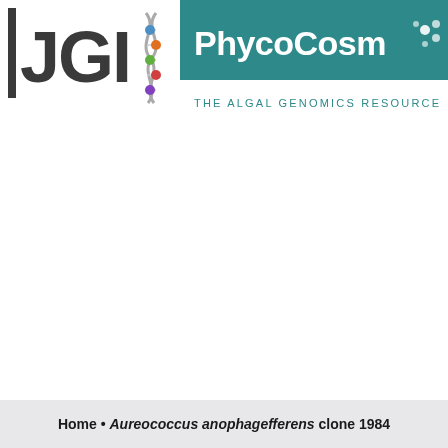[Figure (logo): JGI PhycoCosm - The Algal Genomics Resource logo. Left side shows JGI text with a DNA double helix graphic. Right side shows a teal banner with 'PhycoCosm' text with decorative dots, and below it the tagline 'THE ALGAL GENOMICS RESOURCE'.]
Home • Aureococcus anophagefferens clone 1984